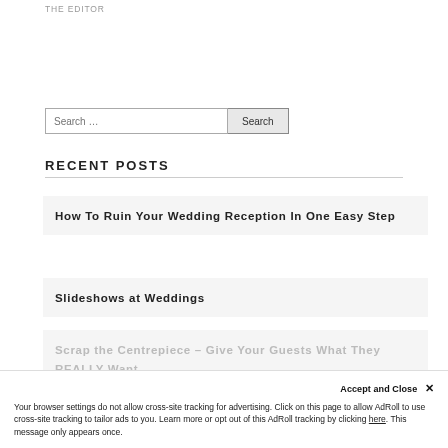THE EDITOR
Search …
Recent Posts
How To Ruin Your Wedding Reception In One Easy Step
Slideshows at Weddings
Scrap the Centrepiece – Give Your Guests What They REALLY Want
Accept and Close ✕ Your browser settings do not allow cross-site tracking for advertising. Click on this page to allow AdRoll to use cross-site tracking to tailor ads to you. Learn more or opt out of this AdRoll tracking by clicking here. This message only appears once.